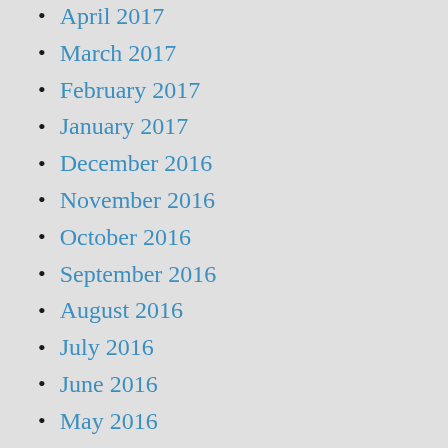April 2017
March 2017
February 2017
January 2017
December 2016
November 2016
October 2016
September 2016
August 2016
July 2016
June 2016
May 2016
April 2016
March 2016
February 2016
January 2016
December 2015